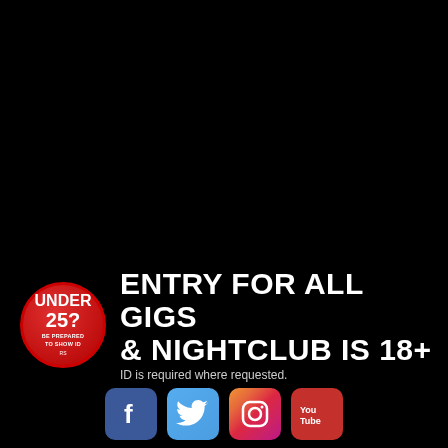[Figure (infographic): Black background page with an age restriction notice. A red circular badge reads 'UNDER 25? BE PREPARED TO SHOW ID' with RS logo. Next to it: 'ENTRY for ALL GIGS & NIGHTCLUB IS 18+' with subtext 'ID is required where requested.' Below are four social media icons: Facebook, Twitter, Instagram, YouTube.]